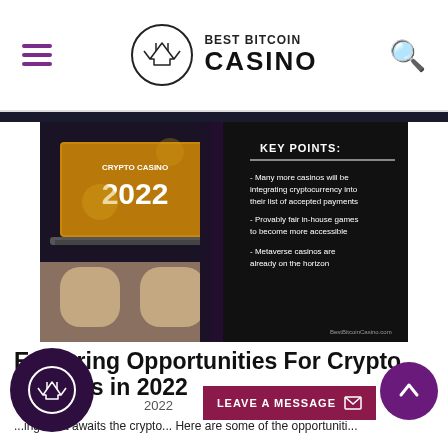BEST BITCOIN CASINO
[Figure (infographic): Crypto Casino 2022 infographic with KEY POINTS: Many more casinos will be integrating cryptocurrency into their list of accepted payments; Provably fair in-house games to become more accessible; Metaverse casinos are already on the horizon. BestBitcoinCasino.com watermark.]
Exploring Opportunities For Crypto Casinos in 2022
2022
...ing what awaits the crypto... Here are some of the opportuniti...